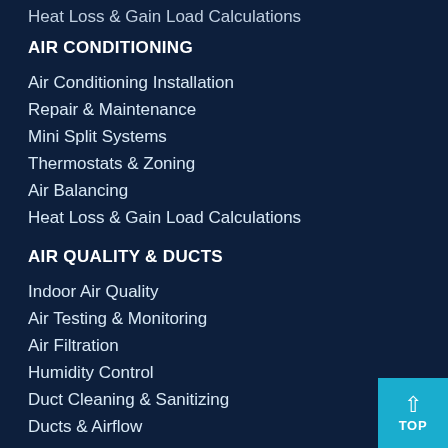Heat Loss & Gain Load Calculations
AIR CONDITIONING
Air Conditioning Installation
Repair & Maintenance
Mini Split Systems
Thermostats & Zoning
Air Balancing
Heat Loss & Gain Load Calculations
AIR QUALITY & DUCTS
Indoor Air Quality
Air Testing & Monitoring
Air Filtration
Humidity Control
Duct Cleaning & Sanitizing
Ducts & Airflow